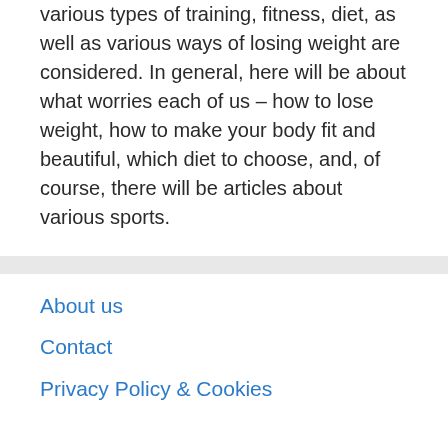various types of training, fitness, diet, as well as various ways of losing weight are considered. In general, here will be about what worries each of us – how to lose weight, how to make your body fit and beautiful, which diet to choose, and, of course, there will be articles about various sports.
About us
Contact
Privacy Policy & Cookies
ATTENTION TO RIGHT HOLDERS! All materials are posted on the site strictly for informational and educational purposes. If...